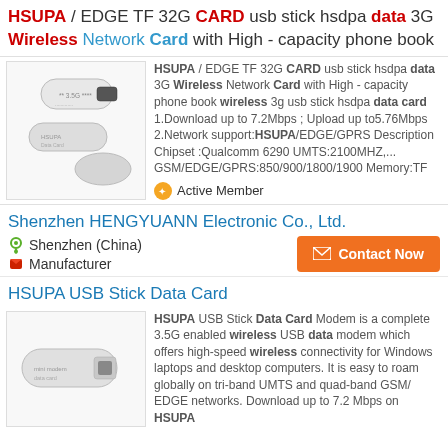HSUPA / EDGE TF 32G CARD usb stick hsdpa data 3G Wireless Network Card with High - capacity phone book
[Figure (photo): Photo of white USB wireless data cards/sticks, two flat oval shapes and one USB dongle]
HSUPA / EDGE TF 32G CARD usb stick hsdpa data 3G Wireless Network Card with High - capacity phone book wireless 3g usb stick hsdpa data card 1.Download up to 7.2Mbps ; Upload up to5.76Mbps 2.Network support:HSUPA/EDGE/GPRS Description Chipset :Qualcomm 6290 UMTS:2100MHZ,... GSM/EDGE/GPRS:850/900/1800/1900 Memory:TF
Active Member
Shenzhen HENGYUANN Electronic Co., Ltd.
Shenzhen (China)
Manufacturer
Contact Now
HSUPA USB Stick Data Card
[Figure (photo): Photo of a white USB mini modem/data stick]
HSUPA USB Stick Data Card Modem is a complete 3.5G enabled wireless USB data modem which offers high-speed wireless connectivity for Windows laptops and desktop computers. It is easy to roam globally on tri-band UMTS and quad-band GSM/ EDGE networks. Download up to 7.2 Mbps on HSUPA